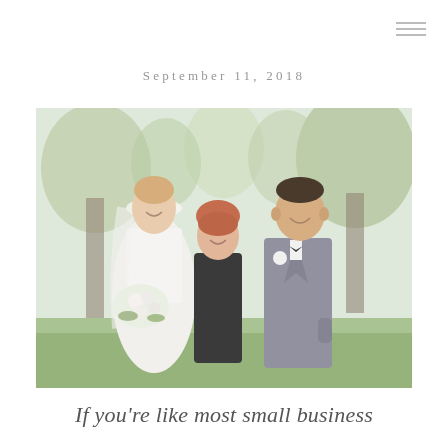≡
September 11, 2018
[Figure (photo): A wedding photo showing a bride in a white gown holding a white floral bouquet, a woman in black dress (wedding planner or bridesmaid) in the center, and a groom in a grey suit with bow tie, smiling outdoors with trees in the background.]
If you're like most small business